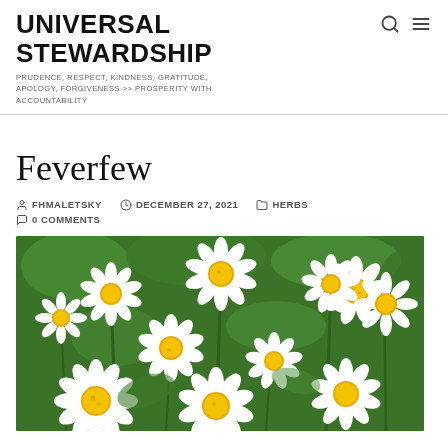UNIVERSAL STEWARDSHIP
PRUDENCE, RESPECT, KINDNESS, GRATITUDE, APOLOGY, FORGIVENESS >> PROSPERITY WITH ACCOUNTABILITY
Feverfew
FHMALETSKY   DECEMBER 27, 2021   HERBS
0 COMMENTS
[Figure (photo): Close-up photograph of feverfew flowers (Tanacetum parthenium) with white petals and yellow centers, against green foliage background]